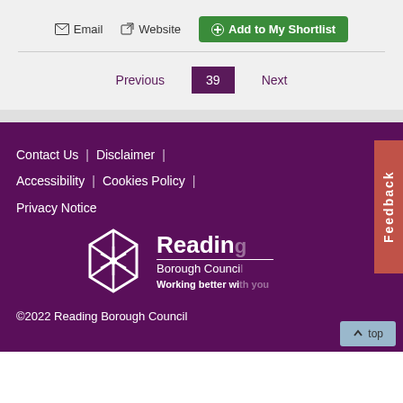Email  Website  Add to My Shortlist
Previous  39  Next
Contact Us | Disclaimer | Accessibility | Cookies Policy | Privacy Notice
[Figure (logo): Reading Borough Council logo with snowflake hexagon icon and tagline Working better with you]
©2022 Reading Borough Council